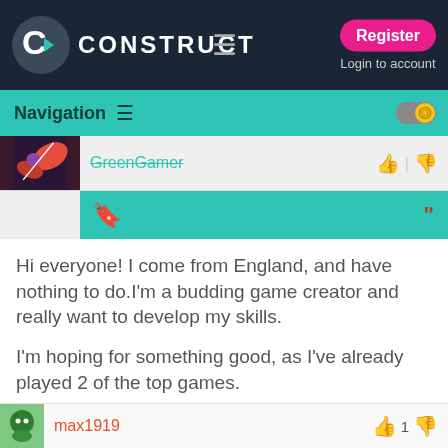CONSTRUCT — Register | Login to account
Navigation
GreenGamer
Hi everyone! I come from England, and have nothing to do.I'm a budding game creator and really want to develop my skills.

I'm hoping for something good, as I've already played 2 of the top games.

<font color=lime green>This is GreenGamer out! </font> <img src="smileys/smiley2.gif" border="0" align="middle" />
max1919